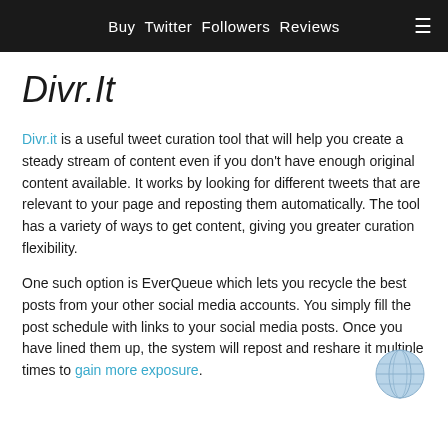Buy Twitter Followers Reviews
Divr.It
Divr.it is a useful tweet curation tool that will help you create a steady stream of content even if you don't have enough original content available. It works by looking for different tweets that are relevant to your page and reposting them automatically. The tool has a variety of ways to get content, giving you greater curation flexibility.
One such option is EverQueue which lets you recycle the best posts from your other social media accounts. You simply fill the post schedule with links to your social media posts. Once you have lined them up, the system will repost and reshare it multiple times to gain more exposure.